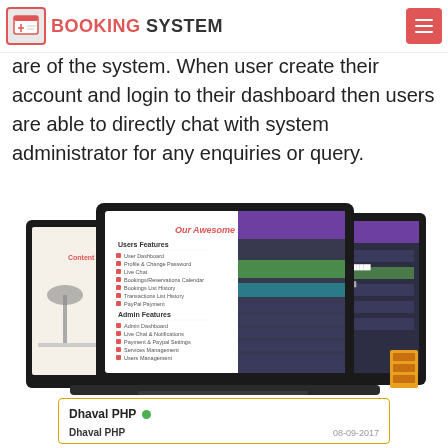BOOKING SYSTEM
are of the system. When user create their account and login to their dashboard then users are able to directly chat with system administrator for any enquiries or query.
[Figure (screenshot): Screenshot of a booking system website showing three overlapping device screens (tablet and laptop) displaying 'Our Awesome Features' page with Users Features and Admin Features lists, and a colorful dashboard UI on the right screen.]
Dhaval PHP  •  Dhaval PHP  08-09-2017